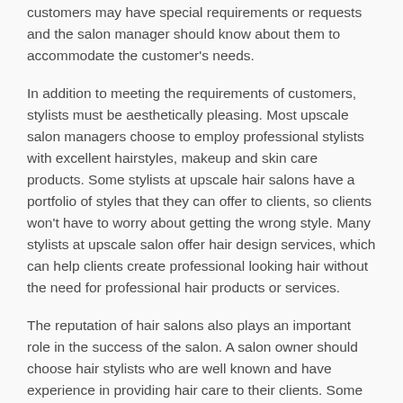customers may have special requirements or requests and the salon manager should know about them to accommodate the customer's needs.
In addition to meeting the requirements of customers, stylists must be aesthetically pleasing. Most upscale salon managers choose to employ professional stylists with excellent hairstyles, makeup and skin care products. Some stylists at upscale hair salons have a portfolio of styles that they can offer to clients, so clients won't have to worry about getting the wrong style. Many stylists at upscale salon offer hair design services, which can help clients create professional looking hair without the need for professional hair products or services.
The reputation of hair salons also plays an important role in the success of the salon. A salon owner should choose hair stylists who are well known and have experience in providing hair care to their clients. Some hair salons offer exclusive services to its clientele, which can increase the chances of business referrals and more business. It is important to choose a salon that uses natural and healthy products on hair and skin that are well-known